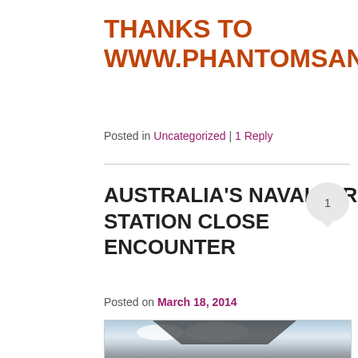THANKS TO WWW.PHANTOMSANDMONSTERS
Posted in Uncategorized | 1 Reply
AUSTRALIA'S NAVAL AIR STATION CLOSE ENCOUNTER
Posted on March 18, 2014
[Figure (photo): Aerial photograph showing underside of aircraft wing with cloudy sky background]